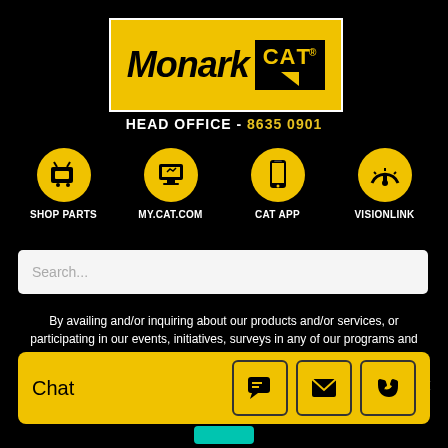[Figure (logo): Monark CAT logo — yellow background with black bold italic Monark text and black box with yellow CAT text and triangle]
HEAD OFFICE - 8635 0901
[Figure (infographic): Four icon buttons: SHOP PARTS (cart icon), MY.CAT.COM (laptop icon), CAT APP (phone icon), VISIONLINK (gauge icon) — each with yellow circle and white label]
Search...
By availing and/or inquiring about our products and/or services, or participating in our events, initiatives, surveys in any of our programs and platforms, you confirm that you have read and understood our privacy policy and you hereby grant your express and continuing consent to allow MONARK EQUIPMENT CORPORATION to process
[Figure (infographic): Chat bar with Chat label and three icon buttons: chat bubble, envelope, phone]